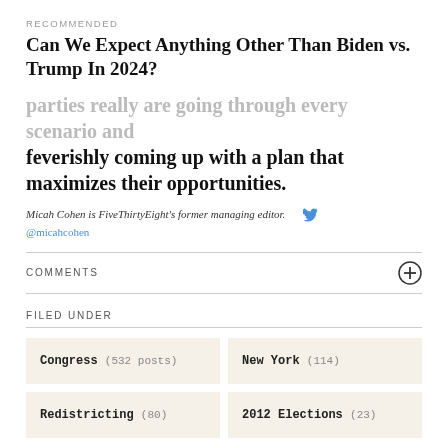RECOMMENDED
Can We Expect Anything Other Than Biden vs. Trump In 2024?
parties really are going through every scenario and feverishly coming up with a plan that maximizes their opportunities.
Micah Cohen is FiveThirtyEight's former managing editor. | @micahcohen
COMMENTS
FILED UNDER
Congress (532 posts)
New York (114)
Redistricting (80)
2012 Elections (23)